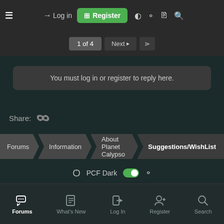≡  Log in  Register
1 of 4  Next  ≫
You must log in or register to reply here.
Share:
Forums  Information  About Planet Calypso  Suggestions/WishList
PCF Dark
Contact Us  Rules & Terms  Privacy Policy  Help  Home
Community platform by XenForo® © 2010-2021 XenForo Ltd.
All content copyright © 2010-2021 MindArk PE AB
Forums  What's New  Log In  Register  Search